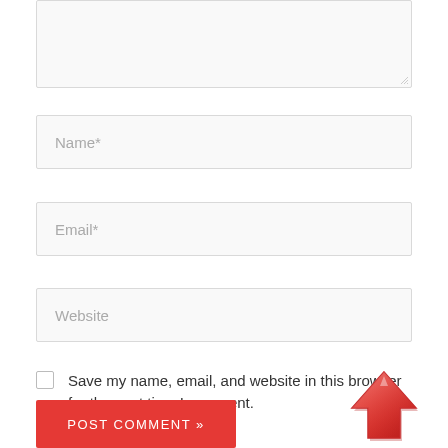[Figure (screenshot): Textarea input field (comment box) — large empty text input with light gray background and border, resize handle at bottom-right corner]
[Figure (screenshot): Name* text input field — single-line input with placeholder text 'Name*' in light gray]
[Figure (screenshot): Email* text input field — single-line input with placeholder text 'Email*' in light gray]
[Figure (screenshot): Website text input field — single-line input with placeholder text 'Website' in light gray]
Save my name, email, and website in this browser for the next time I comment.
[Figure (illustration): Red upward-pointing arrow icon with glossy/3D effect, positioned at bottom-right]
POST COMMENT »